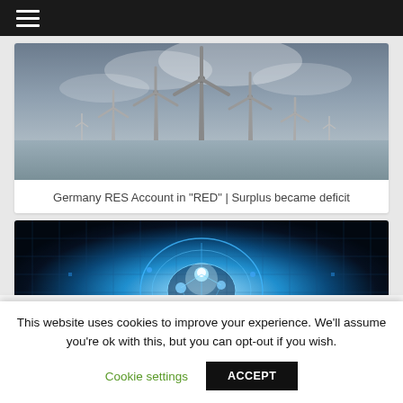[Figure (screenshot): Website navigation bar with hamburger menu icon on dark background]
[Figure (photo): Wind turbines in misty offshore conditions, grey cloudy sky]
Germany RES Account in "RED" | Surplus became deficit
[Figure (photo): AI brain illustration with glowing blue neural network circuit board design]
How AI fleet Management Will Shape the Future of...
This website uses cookies to improve your experience. We'll assume you're ok with this, but you can opt-out if you wish.
Cookie settings   ACCEPT